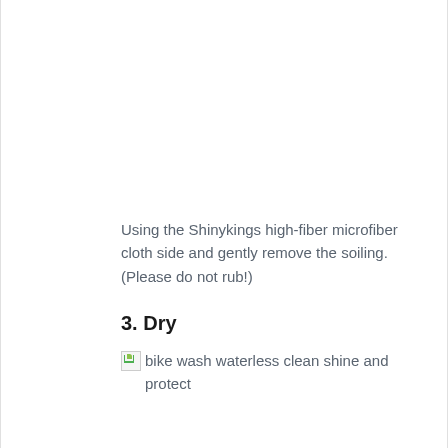Using the Shinykings high-fiber microfiber cloth side and gently remove the soiling. (Please do not rub!)
3. Dry
[Figure (photo): Broken image placeholder with alt text: bike wash waterless clean shine and protect]